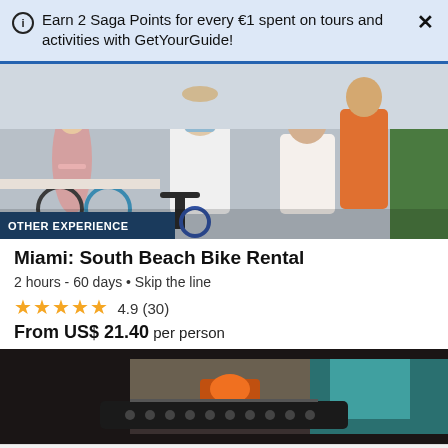Earn 2 Saga Points for every €1 spent on tours and activities with GetYourGuide!
[Figure (photo): Group of people on bikes in Miami South Beach, outdoor setting]
OTHER EXPERIENCE
Miami: South Beach Bike Rental
2 hours - 60 days • Skip the line
★★★★★ 4.9 (30)
From US$ 21.40 per person
[Figure (photo): Dashboard view from inside a vehicle, street scene visible through windshield]
GetYourGuide uses cookies to give you the best possible service. If you continue browsing, you agree to the use of cookies. More details can be found in our privacy policy.